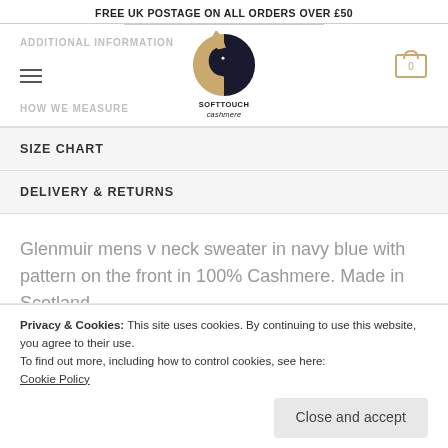FREE UK POSTAGE ON ALL ORDERS OVER £50
ADDITIONAL INFORMATION
[Figure (logo): Soft Touch Cashmere brand logo with stylized goat head in black and gold, and text SOFTTOUCH cashmere]
SIZE CHART
DELIVERY & RETURNS
Glenmuir mens v neck sweater in navy blue with pattern on the front in 100% Cashmere. Made in Scotland.
Privacy & Cookies: This site uses cookies. By continuing to use this website, you agree to their use.
To find out more, including how to control cookies, see here: Cookie Policy
Close and accept